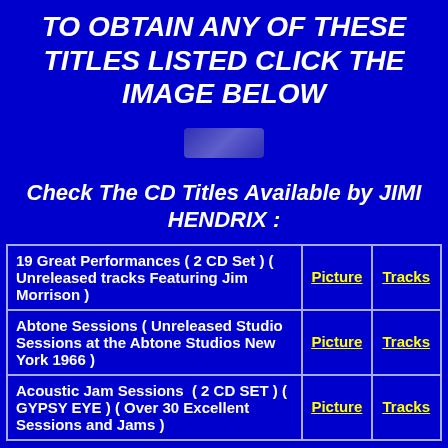TO OBTAIN ANY OF THESE TITLES LISTED CLICK THE IMAGE BELOW
[Figure (illustration): Small thumbnail image placeholder in the center of the blue page]
Check The CD Titles Available by JIMI HENDRIX :
| Title | Picture | Tracks |
| --- | --- | --- |
| 19 Great Performances ( 2 CD Set ) ( Unreleased tracks Featuring Jim Morrison ) | Picture | Tracks |
| Abtone Sessions ( Unreleased Studio Sessions at the Abtone Studios New York 1966 ) | Picture | Tracks |
| Acoustic Jam Sessions  ( 2 CD SET ) ( GYPSY EYE ) ( Over 30 Excellent Sessions and Jams ) | Picture | Tracks |